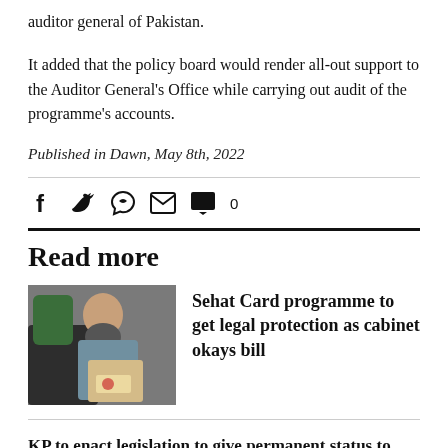auditor general of Pakistan.
It added that the policy board would render all-out support to the Auditor General's Office while carrying out audit of the programme's accounts.
Published in Dawn, May 8th, 2022
[Figure (infographic): Social media sharing icons: Facebook, Twitter, WhatsApp, Email, Comment (with count 0)]
Read more
[Figure (photo): Photo of a bearded man holding a child and a box/card, related to Sehat Card programme]
Sehat Card programme to get legal protection as cabinet okays bill
KP to enact legislation to give permanent status to free